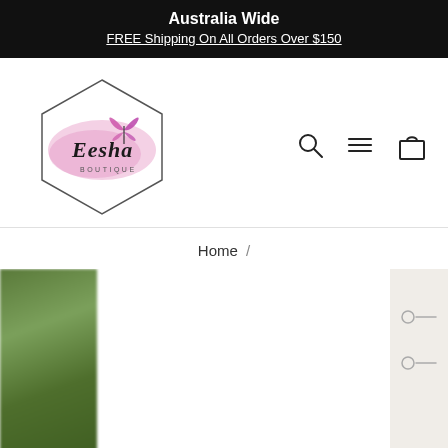Australia Wide
FREE Shipping On All Orders Over $150
[Figure (logo): Eesha Boutique logo — hexagonal outline with pink watercolor brush stroke and butterfly, script text 'Eesha BOUTIQUE']
[Figure (other): Navigation icons: search (magnifying glass), menu (hamburger/three lines), cart (shopping bag)]
Home /
[Figure (photo): Partial blurred green/nature background photo on the left edge]
[Figure (other): Right side panel with cream/beige background and small circular slider navigation icons]